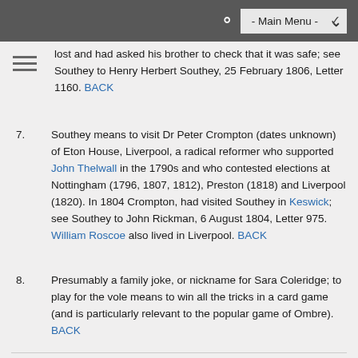- Main Menu -
lost and had asked his brother to check that it was safe; see Southey to Henry Herbert Southey, 25 February 1806, Letter 1160. BACK
7. Southey means to visit Dr Peter Crompton (dates unknown) of Eton House, Liverpool, a radical reformer who supported John Thelwall in the 1790s and who contested elections at Nottingham (1796, 1807, 1812), Preston (1818) and Liverpool (1820). In 1804 Crompton, had visited Southey in Keswick; see Southey to John Rickman, 6 August 1804, Letter 975. William Roscoe also lived in Liverpool. BACK
8. Presumably a family joke, or nickname for Sara Coleridge; to play for the vole means to win all the tricks in a card game (and is particularly relevant to the popular game of Ombre). BACK